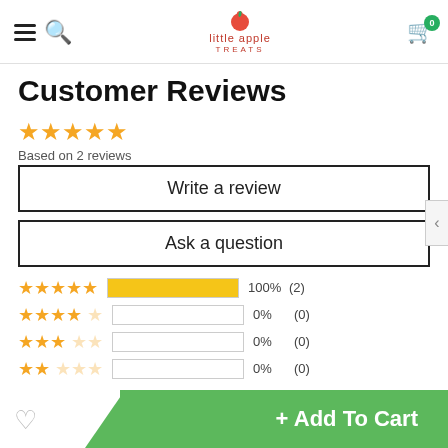little apple TREATS — navigation header with hamburger menu, search icon, logo, and cart with 0 items
Customer Reviews
★★★★★ Based on 2 reviews
Write a review
Ask a question
[Figure (bar-chart): Rating breakdown]
+ Add To Cart